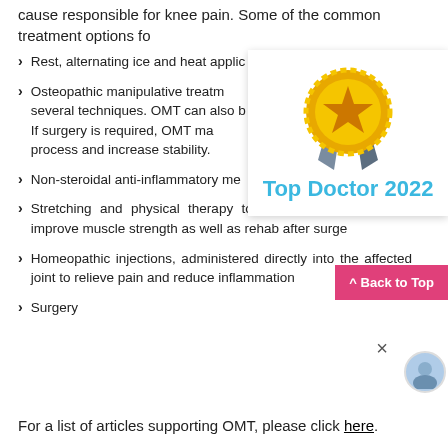cause responsible for knee pain. Some of the common treatment options fo
Rest, alternating ice and heat applic…
Osteopathic manipulative treatm… several techniques. OMT can also b… If surgery is required, OMT ma… process and increase stability.
[Figure (illustration): Top Doctor 2022 award badge — gold medal with star and blue ribbon, overlaid on white card]
Non-steroidal anti-inflammatory me…
Stretching and physical therapy to keep joints flexible and improve muscle strength as well as rehab after surge…
Homeopathic injections, administered directly into the affected joint to relieve pain and reduce inflammation
Surgery
For a list of articles supporting OMT, please click here.